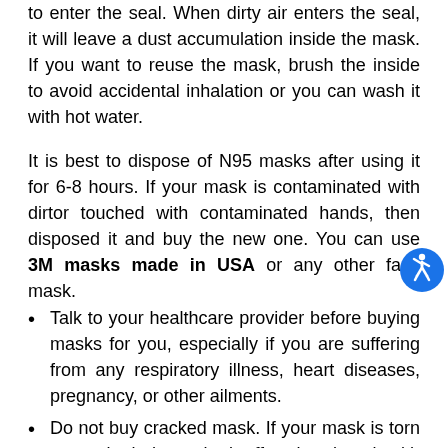to enter the seal. When dirty air enters the seal, it will leave a dust accumulation inside the mask. If you want to reuse the mask, brush the inside to avoid accidental inhalation or you can wash it with hot water.
It is best to dispose of N95 masks after using it for 6-8 hours. If your mask is contaminated with dirtor touched with contaminated hands, then disposed it and buy the new one. You can use 3M masks made in USA or any other face mask.
[Figure (other): Blue circular accessibility icon with white wheelchair user symbol]
Talk to your healthcare provider before buying masks for you, especially if you are suffering from any respiratory illness, heart diseases, pregnancy, or other ailments.
Do not buy cracked mask. If your mask is torn or cracked, then take it off and replace it with a new